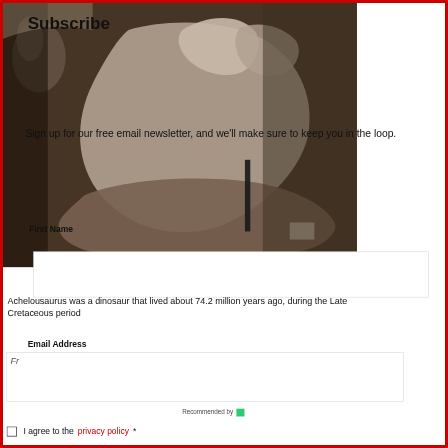[Figure (photo): Museum display of Achelousaurus dinosaur skeleton/fossil specimen, dark museum background with display case]
Subscribe
Sign up for our free email newsletter, and we'll make sure to keep you in the loop.
First Name
Achelousaurus was a dinosaur that lived about 74.2 million years ago, during the Late Cretaceous period
Email Address
Fr
Recommended by
I agree to the privacy policy *